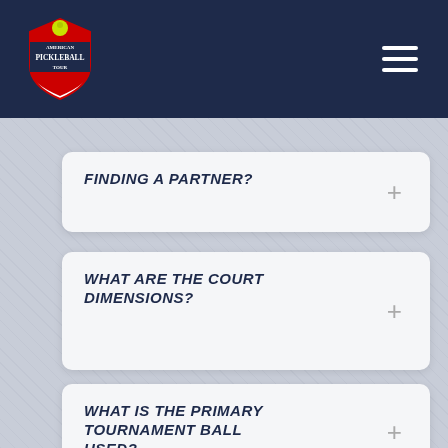American Pickleball Tour navigation bar with logo and hamburger menu
FINDING A PARTNER?
WHAT ARE THE COURT DIMENSIONS?
WHAT IS THE PRIMARY TOURNAMENT BALL USED?